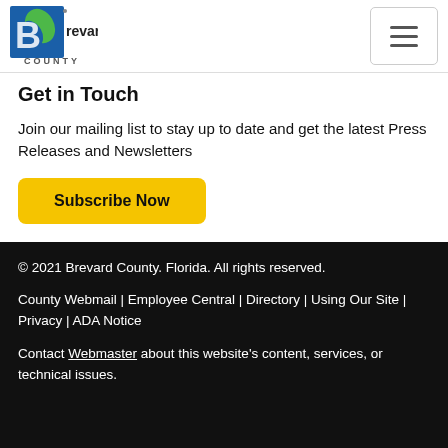[Figure (logo): Brevard County logo with stylized leaf and letter B, 'Brevard COUNTY' text]
Get in Touch
Join our mailing list to stay up to date and get the latest Press Releases and Newsletters
Subscribe Now
© 2021 Brevard County. Florida. All rights reserved.

County Webmail | Employee Central | Directory | Using Our Site | Privacy | ADA Notice

Contact Webmaster about this website's content, services, or technical issues.